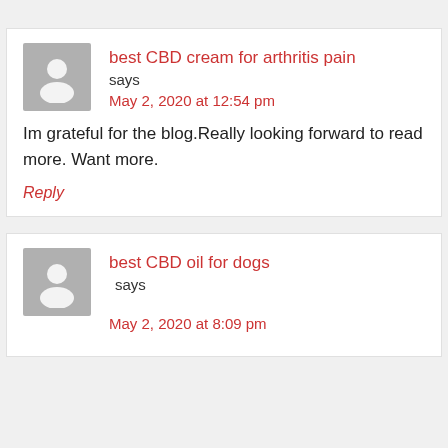best CBD cream for arthritis pain says
May 2, 2020 at 12:54 pm
Im grateful for the blog.Really looking forward to read more. Want more.
Reply
best CBD oil for dogs says
May 2, 2020 at 8:09 pm